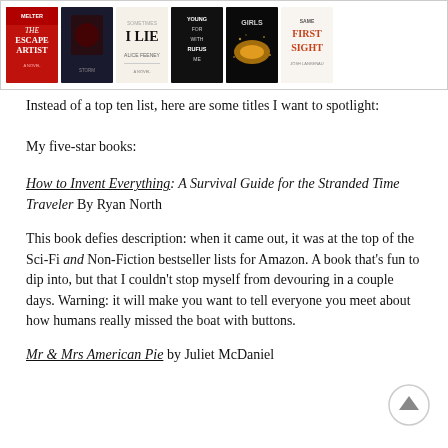[Figure (illustration): A horizontal strip showing six book covers: The Escape Artist, a dark thriller cover, I Lie by Alice Feeney, Young For With Rufus Me, Girls (with golden lights), and First Sight by Josh Lankenau.]
Instead of a top ten list, here are some titles I want to spotlight:
My five-star books:
How to Invent Everything: A Survival Guide for the Stranded Time Traveler By Ryan North
This book defies description: when it came out, it was at the top of the Sci-Fi and Non-Fiction bestseller lists for Amazon. A book that’s fun to dip into, but that I couldn’t stop myself from devouring in a couple days. Warning: it will make you want to tell everyone you meet about how humans really missed the boat with buttons.
Mr & Mrs American Pie by Juliet McDaniel